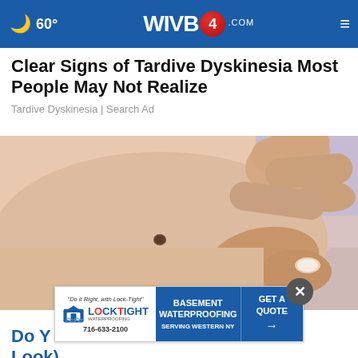60° WIVB4.COM
Clear Signs of Tardive Dyskinesia Most People May Not Realize
Tardive Dyskinesia | Search Ad
[Figure (photo): Close-up photo of a person's skin being examined, with fingers pointing at a small mole or skin mark]
[Figure (infographic): LockTight Waterproofing advertisement banner. Text: 'Do it Right, with Lock-Tight' LOCKTIGHT WATERPROOFING 716-633-2100 | BASEMENT WATERPROOFING SERVING WESTERN NY | GET A QUOTE with arrow]
Do Y... a Look)